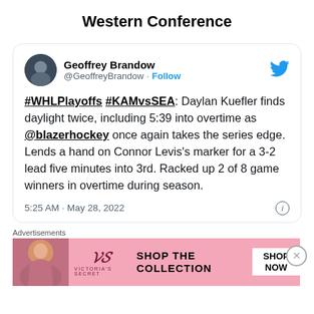Western Conference
@GeoffreyBrandow · Follow
#WHLPlayoffs #KAMvsSEA: Daylan Kuefler finds daylight twice, including 5:39 into overtime as @blazerhockey once again takes the series edge. Lends a hand on Connor Levis's marker for a 3-2 lead five minutes into 3rd. Racked up 2 of 8 game winners in overtime during season.
5:25 AM · May 28, 2022
Advertisements
[Figure (illustration): Victoria's Secret advertisement banner with model photo, VS logo, 'SHOP THE COLLECTION' text and 'SHOP NOW' button]